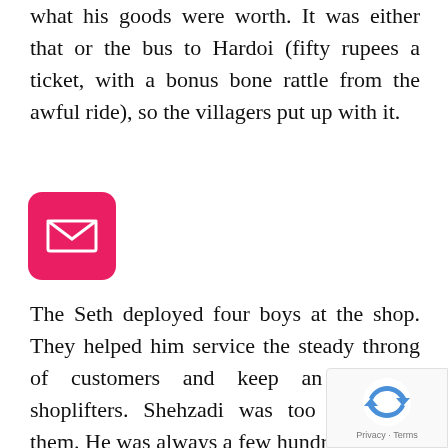what his goods were worth. It was either that or the bus to Hardoi (fifty rupees a ticket, with a bonus bone rattle from the awful ride), so the villagers put up with it.
[Figure (illustration): Pink/red rounded square mail icon with white envelope symbol]
The Seth deployed four boys at the shop. They helped him service the steady throng of customers and keep an eye on shoplifters. Shehzadi was too quick for them. He was always a few hundred short at the end of the day, and no one could understand how. He had once installed a CCTV camera, but voltage fluctuations blew it up. Modern security cut no ice with Bijliya.
[Figure (logo): Google reCAPTCHA badge with circular arrow icon and Privacy - Terms text]
The Thief and the...